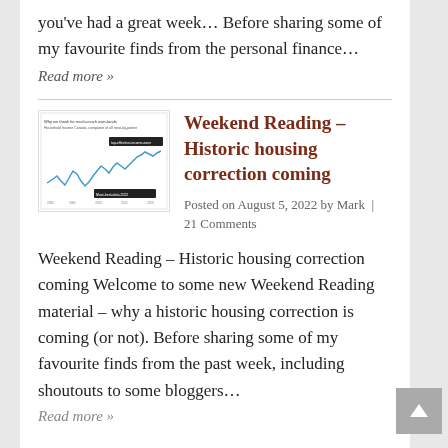you've had a great week… Before sharing some of my favourite finds from the personal finance… Read more »
[Figure (screenshot): Thumbnail image of a line chart showing household income in Canada, with two highlighted data labels. The chart shows a fluctuating blue line over time.]
Weekend Reading – Historic housing correction coming
Posted on August 5, 2022 by Mark | 21 Comments
Weekend Reading – Historic housing correction coming Welcome to some new Weekend Reading material – why a historic housing correction is coming (or not). Before sharing some of my favourite finds from the past week, including shoutouts to some bloggers…
Read more »